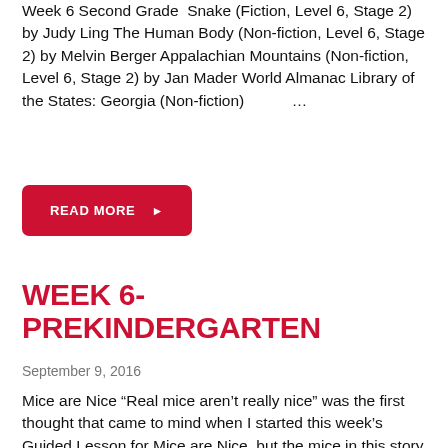Week 6 Second Grade  Snake (Fiction, Level 6, Stage 2) by Judy Ling The Human Body (Non-fiction, Level 6, Stage 2) by Melvin Berger Appalachian Mountains (Non-fiction, Level 6, Stage 2) by Jan Mader World Almanac Library of the States: Georgia (Non-fiction)    ...
READ MORE ▶
WEEK 6- PREKINDERGARTEN
September 9, 2016
Mice are Nice “Real mice aren't really nice” was the first thought that came to mind when I started this week's Guided Lesson for Mice are Nice, but the mice in this story were really nice, and we had